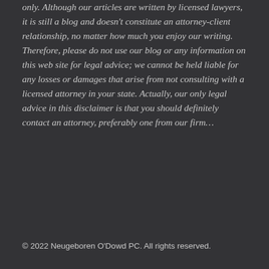only. Although our articles are written by licensed lawyers, it is still a blog and doesn't constitute an attorney-client relationship, no matter how much you enjoy our writing. Therefore, please do not use our blog or any information on this web site for legal advice; we cannot be held liable for any losses or damages that arise from not consulting with a licensed attorney in your state. Actually, our only legal advice in this disclaimer is that you should definitely contact an attorney, preferably one from our firm…
© 2022 Neugeboren O'Dowd PC. All rights reserved.